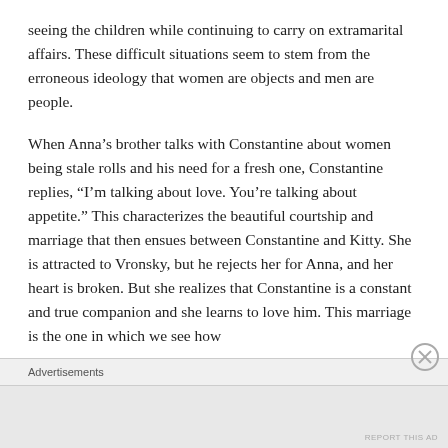seeing the children while continuing to carry on extramarital affairs.  These difficult situations seem to stem from the erroneous ideology that women are objects and men are people.
When Anna’s brother talks with Constantine about women being stale rolls and his need for a fresh one, Constantine replies, “I’m talking about love.  You’re talking about appetite.” This characterizes the beautiful courtship and marriage that then ensues between Constantine and Kitty.  She is attracted to Vronsky, but he rejects her for Anna, and her heart is broken.  But she realizes that Constantine is a constant and true companion and she learns to love him.  This marriage is the one in which we see how
Advertisements